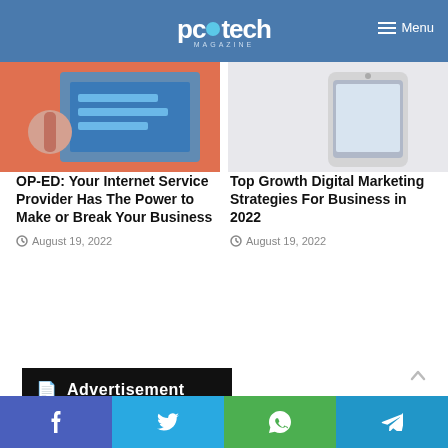pctech MAGAZINE — Menu
[Figure (photo): Left article thumbnail: hand holding pen over blue sticky notes]
[Figure (photo): Right article thumbnail: smartphone on white surface]
OP-ED: Your Internet Service Provider Has The Power to Make or Break Your Business
August 19, 2022
Top Growth Digital Marketing Strategies For Business in 2022
August 19, 2022
Advertisement
f  t  WhatsApp  Telegram